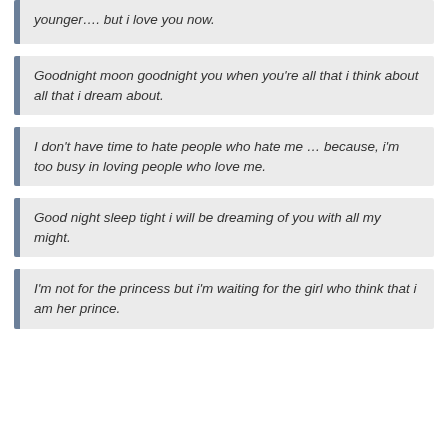younger…. but i love you now.
Goodnight moon goodnight you when you're all that i think about all that i dream about.
I don't have time to hate people who hate me … because, i'm too busy in loving people who love me.
Good night sleep tight i will be dreaming of you with all my might.
I'm not for the princess but i'm waiting for the girl who think that i am her prince.